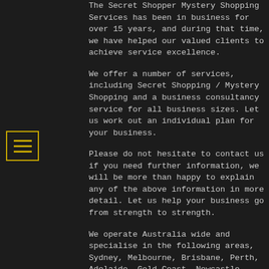The Secret Shopper Mystery Shopping Services has been in business for over 15 years, and during that time, we have helped our valued clients to achieve service excellence.
We offer a number of services, including Secret Shopping / Mystery Shopping and a business consultancy service for all business sizes. Let us work out an individual plan for your business.
Please do not hesitate to contact us if you need further information, we will be more than happy to explain any of the above information in more detail. Let us help your business go from strength to strength.
We operate Australia wide and specialise in the following areas, Sydney, Melbourne, Brisbane, Perth, Adelaide, Gold Coast, Newcastle, Sunshine Coast, Wollongong, Townsville, Cairns, Toowoomba, Bendigo, Tasmania, Canberra – Queanbeyan, Central Coast, Geelong, Ballarat, Albury – Wodonga, Mackay, Rockhampton, Bunbury, Coffs Harbour,